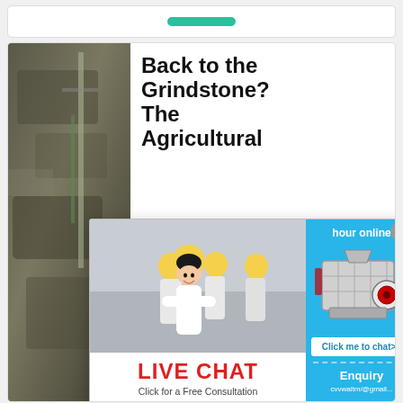[Figure (screenshot): Top white card with a green rounded button (partially visible at top)]
[Figure (screenshot): Main article card showing mining/quarry photo on left, headline 'Back to the Grindstone? The [Agricultural]' on right, with body text about observations on grindstone implements in Elgeyo-Marakwet County, northwest Kenya]
[Figure (screenshot): Live Chat popup overlay with worker photo, red LIVE CHAT label, 'Click for a Free Consultation', Chat now / Chat later buttons, and a blue right panel with crusher machine image, 'Click me to chat>>' button, and 'Enquiry' section]